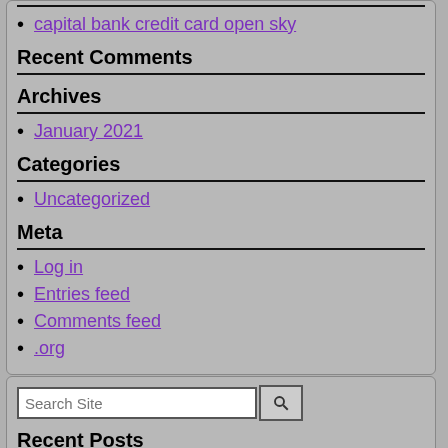capital bank credit card open sky
Recent Comments
Archives
January 2021
Categories
Uncategorized
Meta
Log in
Entries feed
Comments feed
.org
Search Site
Recent Posts
capital bank credit card open sky